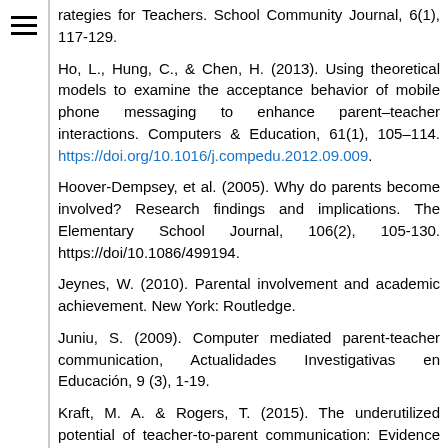rategies for Teachers. School Community Journal, 6(1), 117-129.
Ho, L., Hung, C., & Chen, H. (2013). Using theoretical models to examine the acceptance behavior of mobile phone messaging to enhance parent–teacher interactions. Computers & Education, 61(1), 105–114. https://doi.org/10.1016/j.compedu.2012.09.009.
Hoover-Dempsey, et al. (2005). Why do parents become involved? Research findings and implications. The Elementary School Journal, 106(2), 105-130. https://doi/10.1086/499194.
Jeynes, W. (2010). Parental involvement and academic achievement. New York: Routledge.
Juniu, S. (2009). Computer mediated parent-teacher communication, Actualidades Investigativas en Educación, 9 (3), 1-19.
Kraft, M. A. & Rogers, T. (2015). The underutilized potential of teacher-to-parent communication: Evidence from a field experiment. Journal of Education Review,